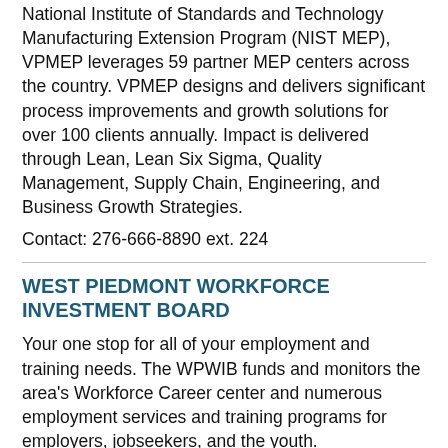National Institute of Standards and Technology Manufacturing Extension Program (NIST MEP), VPMEP leverages 59 partner MEP centers across the country. VPMEP designs and delivers significant process improvements and growth solutions for over 100 clients annually. Impact is delivered through Lean, Lean Six Sigma, Quality Management, Supply Chain, Engineering, and Business Growth Strategies.
Contact: 276-666-8890 ext. 224
WEST PIEDMONT WORKFORCE INVESTMENT BOARD
Your one stop for all of your employment and training needs. The WPWIB funds and monitors the area's Workforce Career center and numerous employment services and training programs for employers, jobseekers, and the youth.
Contact: 276-656-6190. West Piedmont Works